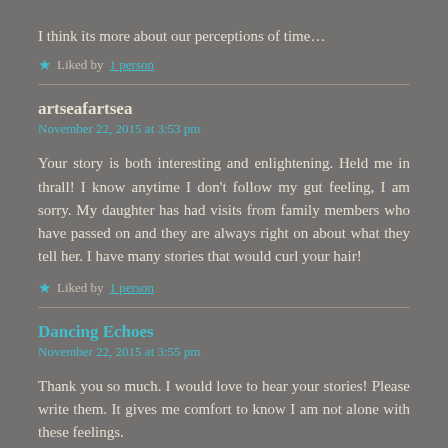I think its more about our perceptions of time…
★ Liked by 1 person
artseafartsea
November 22, 2015 at 3:53 pm
Your story is both interesting and enlightening. Held me in thrall! I know anytime I don't follow my gut feeling, I am sorry. My daughter has had visits from family members who have passed on and they are always right on about what they tell her. I have many stories that would curl your hair!
★ Liked by 1 person
Dancing Echoes
November 22, 2015 at 3:55 pm
Thank you so much. I would love to hear your stories! Please write them. It gives me comfort to know I am not alone with these feelings.